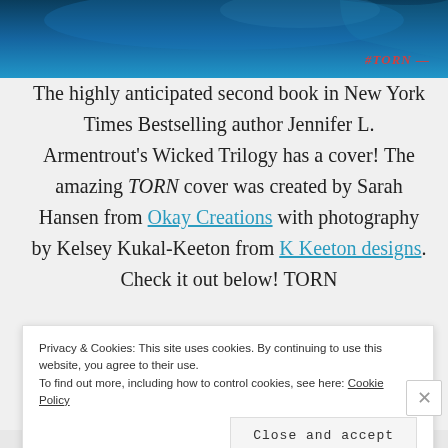[Figure (photo): Book cover image with dark blue underwater/ocean background and #TORN text label in red italic at bottom right]
The highly anticipated second book in New York Times Bestselling author Jennifer L. Armentrout's Wicked Trilogy has a cover! The amazing TORN cover was created by Sarah Hansen from Okay Creations with photography by Kelsey Kukal-Keeton from K Keeton designs. Check it out below! TORN
Privacy & Cookies: This site uses cookies. By continuing to use this website, you agree to their use.
To find out more, including how to control cookies, see here: Cookie Policy
Close and accept